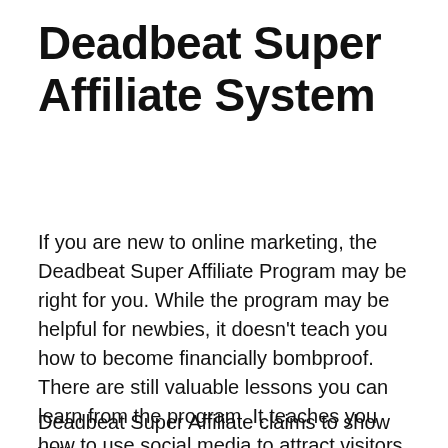Deadbeat Super Affiliate System
If you are new to online marketing, the Deadbeat Super Affiliate Program may be right for you. While the program may be helpful for newbies, it doesn’t teach you how to become financially bombproof. There are still valuable lessons you can learn from the program. It teaches you how to use social media to attract visitors and traffic. It may seem simple, but there are many ways to automate the process, including writing articles or videos.
Deadbeat Super Affiliate claims to show you